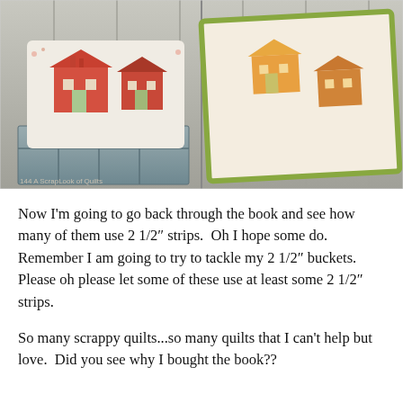[Figure (photo): Photo from a quilting book showing patchwork house-pattern pillows and quilts displayed on a rustic wooden crate against a weathered white wood plank background. Page number 144 and 'A ScrapLook of Quilts' text visible at bottom left of photo.]
Now I'm going to go back through the book and see how many of them use 2 1/2″ strips.  Oh I hope some do.  Remember I am going to try to tackle my 2 1/2″ buckets.  Please oh please let some of these use at least some 2 1/2″ strips.
So many scrappy quilts...so many quilts that I can't help but love.  Did you see why I bought the book??